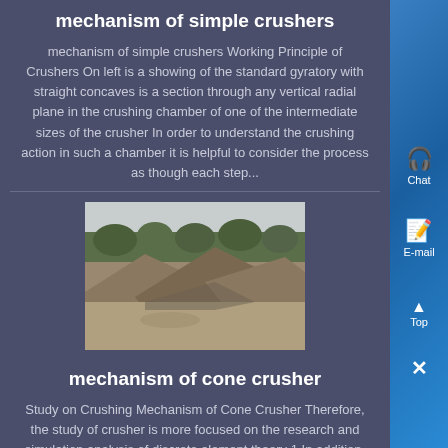mechanism of simple crushers
mechanism of simple crushers Working Principle of Crushers On left is a showing of the standard gyratory with straight concaves is a section through any vertical radial plane in the crushing chamber of one of the intermediate sizes of the crusher In order to understand the crushing action in such a chamber it is helpful to consider the process as though each step...
[Figure (photo): Outdoor photo of a quarry or crushed stone area with mounded gravel/aggregate material and trees in background]
mechanism of cone crusher
Study on Crushing Mechanism of Cone Crusher Therefore, the study of crusher is more focused on the research and simulation analysis of discrete element theory 1 In addition, when the movable cone liner is worn out, the discharging port will be enlarged, the oredischarging granularity becomes thicker, and the crushing